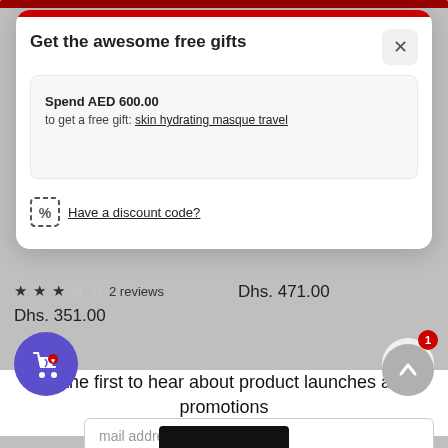[Figure (screenshot): E-commerce website screenshot showing a modal popup for free gifts promotion and a newsletter signup section below]
Get the awesome free gifts
Spend AED 600.00 to get a free gift: skin hydrating masque travel
Have a discount code?
2 reviews
Dhs. 471.00
Dhs. 351.00
Be the first to hear about product launches and promotions
Email address